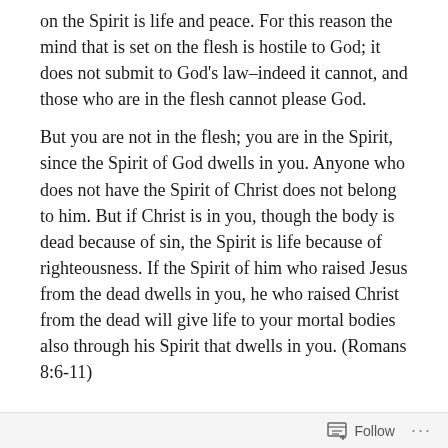on the Spirit is life and peace.  For this reason the mind that is set on the flesh is hostile to God; it does not submit to God's law–indeed it cannot, and those who are in the flesh cannot please God.
But you are not in the flesh; you are in the Spirit, since the Spirit of God dwells in you.  Anyone who does not have the Spirit of Christ does not belong to him.  But if Christ is in you, though the body is dead because of sin, the Spirit is life because of righteousness.  If the Spirit of him who raised Jesus from the dead dwells in you, he who raised Christ from the dead will give life to your mortal bodies also through his Spirit that dwells in you.  (Romans 8:6-11)

We are Spirit and we are flesh.
We are living creatures; filled with the Spirit of God!  We
Follow ···